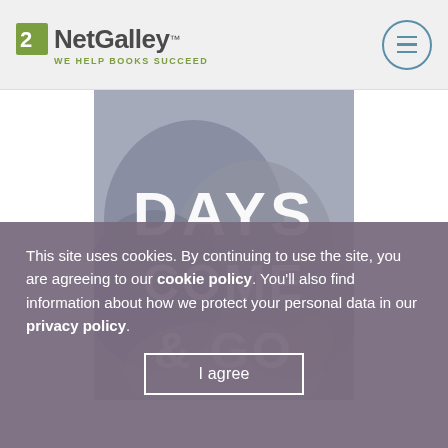NetGalley — WE HELP BOOKS SUCCEED
[Figure (photo): Book cover for 'Days Come & Go' showing large white text on a moody blue-grey cloudy background]
This site uses cookies. By continuing to use the site, you are agreeing to our cookie policy. You'll also find information about how we protect your personal data in our privacy policy.
I agree